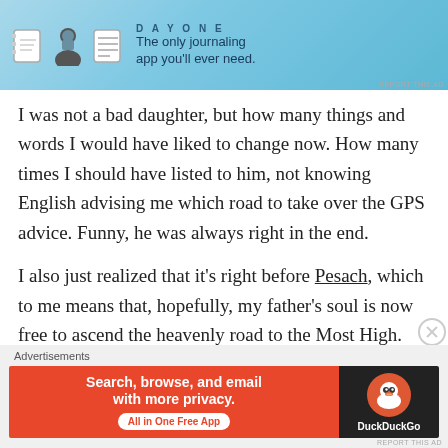[Figure (screenshot): Day One journaling app advertisement banner with light blue background, app icons, and text 'The only journaling app you'll ever need.']
I was not a bad daughter, but how many things and words I would have liked to change now. How many times I should have listed to him, not knowing English advising me which road to take over the GPS advice. Funny, he was always right in the end.
I also just realized that it's right before Pesach, which to me means that, hopefully, my father's soul is now free to ascend the heavenly road to the Most High. His life was not at all easy, and he deserves the rest and the light of the eternity.
[Figure (screenshot): DuckDuckGo advertisement banner: orange left panel 'Search, browse, and email with more privacy. All in One Free App' and dark right panel with DuckDuckGo duck logo.]